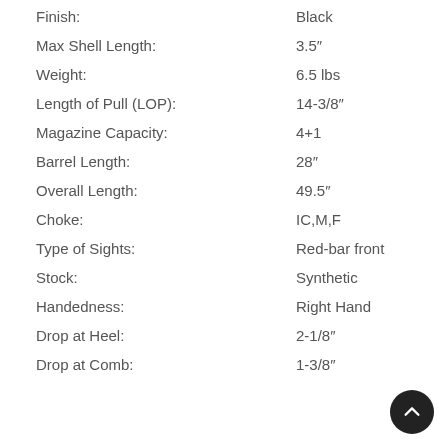Finish: Black
Max Shell Length: 3.5"
Weight: 6.5 lbs
Length of Pull (LOP): 14-3/8"
Magazine Capacity: 4+1
Barrel Length: 28"
Overall Length: 49.5"
Choke: IC,M,F
Type of Sights: Red-bar front
Stock: Synthetic
Handedness: Right Hand
Drop at Heel: 2-1/8"
Drop at Comb: 1-3/8"